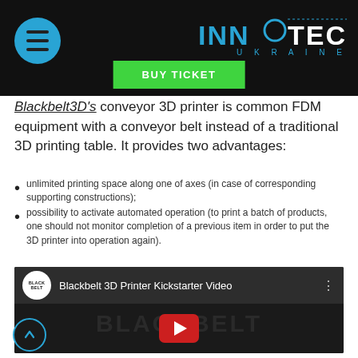INNOTECH UKRAINE — BUY TICKET
Blackbelt3D's conveyor 3D printer is common FDM equipment with a conveyor belt instead of a traditional 3D printing table. It provides two advantages:
unlimited printing space along one of axes (in case of corresponding supporting constructions);
possibility to activate automated operation (to print a batch of products, one should not monitor completion of a previous item in order to put the 3D printer into operation again).
[Figure (screenshot): YouTube video embed titled 'Blackbelt 3D Printer Kickstarter Video' showing the Blackbelt logo circle, video title, three-dot menu, and a dark thumbnail with BLACKBELT text and a red YouTube play button.]